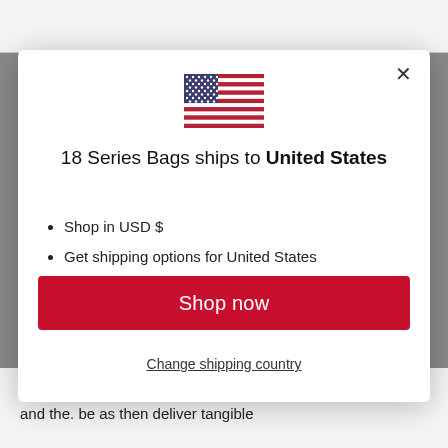[Figure (illustration): US flag SVG illustration centered in the modal]
18 Series Bags ships to United States
Shop in USD $
Get shipping options for United States
Shop now
Change shipping country
those challenges / purpose-built to solve for those problems, and the. be as then deliver tangible